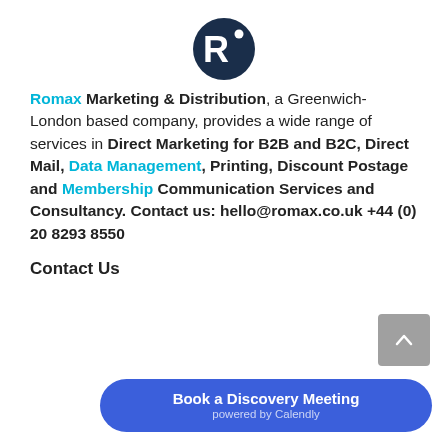[Figure (logo): Romax company logo: circular dark navy icon with stylized R letter in white, with a small circular cutout at top-right of the R]
Romax Marketing & Distribution, a Greenwich-London based company, provides a wide range of services in Direct Marketing for B2B and B2C, Direct Mail, Data Management, Printing, Discount Postage and Membership Communication Services and Consultancy. Contact us: hello@romax.co.uk +44 (0) 20 8293 8550
Contact Us
[Figure (other): Grey square scroll-to-top button with upward chevron arrow]
[Figure (other): Blue rounded rectangle button reading 'Book a Discovery Meeting powered by Calendly']